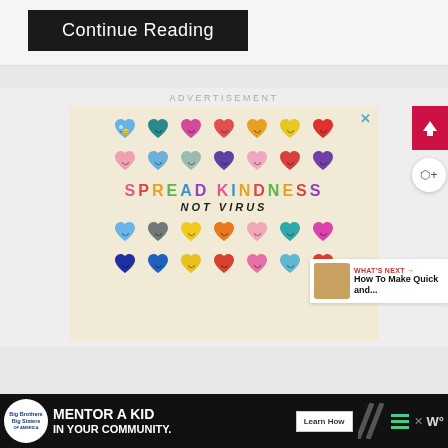[Figure (screenshot): Continue Reading button - dark/black background with white text]
ADVERTISEMENT
[Figure (illustration): Spread Kindness Not Virus advertisement with colorful heart emoji characters arranged in rows and text 'SPREAD KINDNESS NOT VIRUS' on a cream background]
[Figure (screenshot): WHAT'S NEXT arrow label with 'How To Make Quick and...' thumbnail preview]
[Figure (screenshot): Big Brothers Big Sisters banner ad: MENTOR A KID IN YOUR COMMUNITY with Learn How button]